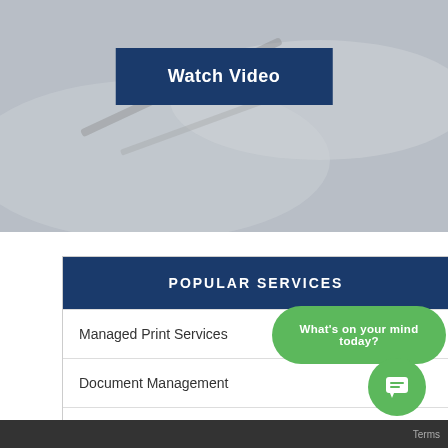[Figure (screenshot): Hero banner with grey background showing a pen/glasses image, containing a dark navy blue 'Watch Video' button centered in the upper portion.]
POPULAR SERVICES
Managed Print Services
Document Management
Office Technology
Toner Cartridges
What's on your mind today?
Terms